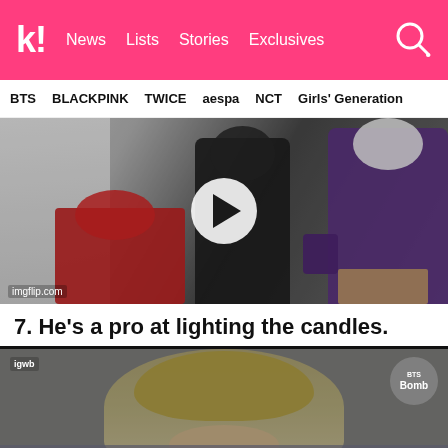k! News  Lists  Stories  Exclusives
BTS  BLACKPINK  TWICE  aespa  NCT  Girls' Generation
[Figure (screenshot): Video player showing several people, one in red outfit, one in black hoodie, one in purple jacket, with play button overlay. Watermark: imgflip.com]
7. He's a pro at lighting the candles.
[Figure (screenshot): Video player showing a blonde person from behind leaning over, with BTS Bomb badge top right and igwb badge top left]